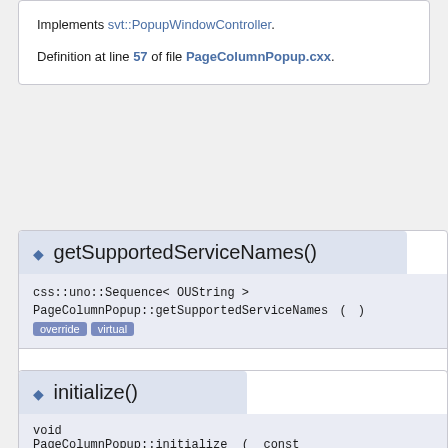Implements svt::PopupWindowController.
Definition at line 57 of file PageColumnPopup.cxx.
◆ getSupportedServiceNames()
css::uno::Sequence< OUString > PageColumnPopup::getSupportedServiceNames ( )  override  virtual
Implements svt::PopupWindowController.
Definition at line 62 of file PageColumnPopup.cxx.
◆ initialize()
void PageColumnPopup::initialize ( const css::uno::Sequence< css::uno::